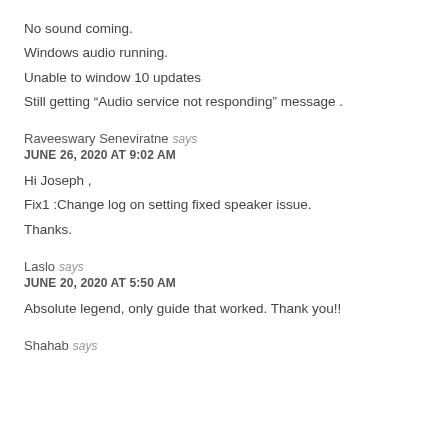No sound coming.
Windows audio running.
Unable to window 10 updates
Still getting “Audio service not responding” message .
Raveeswary Seneviratne says
JUNE 26, 2020 AT 9:02 AM
Hi Joseph ,
Fix1 :Change log on setting fixed speaker issue.
Thanks.
Laslo says
JUNE 20, 2020 AT 5:50 AM
Absolute legend, only guide that worked. Thank you!!
Shahab says